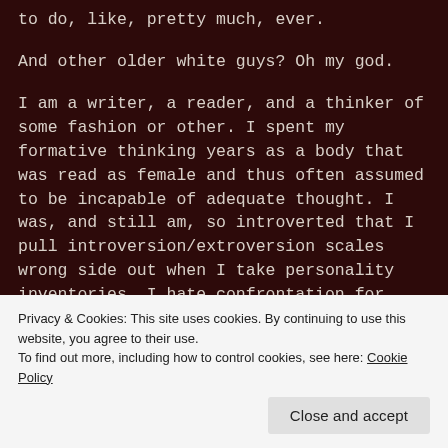to do, like, pretty much, ever.
And other older white guys? Oh my god.
I am a writer, a reader, and a thinker of some fashion or other. I spent my formative thinking years as a body that was read as female and thus often assumed to be incapable of adequate thought. I was, and still am, so introverted that I pull introversion/extroversion scales wrong side out when I take personality inventories. I hate confrontation for various reasons and for various, often related, reasons, I assume most primarily that I
Privacy & Cookies: This site uses cookies. By continuing to use this website, you agree to their use.
To find out more, including how to control cookies, see here: Cookie Policy
at least a pencil and paper. I think intuitively and